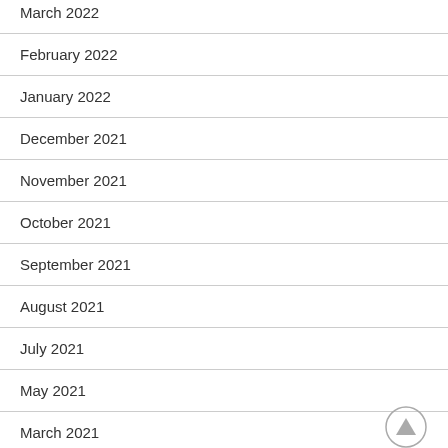March 2022
February 2022
January 2022
December 2021
November 2021
October 2021
September 2021
August 2021
July 2021
May 2021
March 2021
February 2021